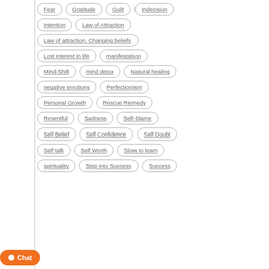Fear
Gratitude
Guilt
Indecision
Intention
Law of Attraction
Law of attraction. Changing beliefs
Lost interest in life
manifestation
Mind-Shift
mind detox
Natural healing
negative emotions
Perfectionism
Personal Growth
Rescue Remedy
Resentful
Sadness
Self-blame
Self Belief
Self Confidence
Self Doubt
Self talk
Self Worth
Slow to learn
spirituality
Step into Success
Success